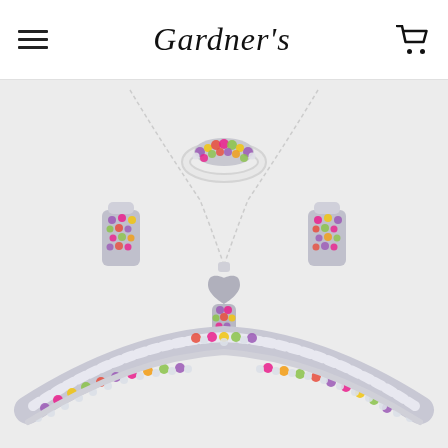Gardner's
[Figure (photo): A colorful gemstone silver jewelry set including a bracelet, earrings, ring, and pendant necklace. The pieces are adorned with multicolored cubic zirconia stones in purple, pink, green, red, and yellow set in silver metal. The bracelet curves along the bottom, two rectangular clip earrings are on each side, a ring sits at the top center, and a heart-bale pendant hangs in the center front of the chain.]